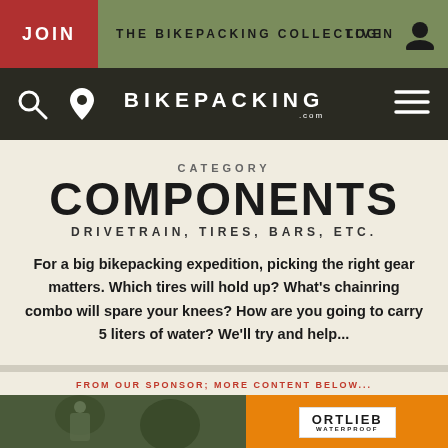JOIN | THE BIKEPACKING COLLECTIVE | LOGIN
[Figure (screenshot): Bikepacking.com navigation bar with search icon, location icon, BIKEPACKING.COM logo, and hamburger menu]
CATEGORY
COMPONENTS
DRIVETRAIN, TIRES, BARS, ETC.
For a big bikepacking expedition, picking the right gear matters. Which tires will hold up? What's chainring combo will spare your knees? How are you going to carry 5 liters of water? We'll try and help...
FROM OUR SPONSOR; MORE CONTENT BELOW...
[Figure (photo): Cyclist in forest on the left, Ortlieb waterproof brand logo on orange background on the right]